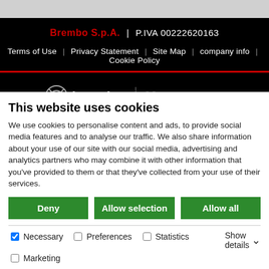Brembo S.p.A. | P.IVA 00222620163
Terms of Use | Privacy Statement | Site Map | company info | Cookie Policy
[Figure (logo): Brembo SGL Carbon brakes logo with brembo circular mark, SGL carbon text, and CARBON CERAMIC BRAKES caption]
[Figure (logo): Marchesini logo and BYRE logo side by side]
This website uses cookies
We use cookies to personalise content and ads, to provide social media features and to analyse our traffic. We also share information about your use of our site with our social media, advertising and analytics partners who may combine it with other information that you've provided to them or that they've collected from your use of their services.
Deny | Allow selection | Allow all
Necessary (checked) | Preferences | Statistics | Marketing | Show details